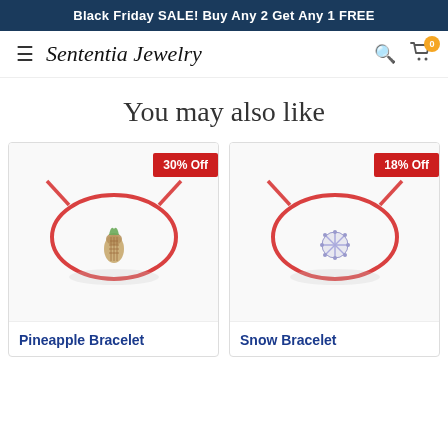Black Friday SALE! Buy Any 2 Get Any 1 FREE
[Figure (logo): Sententia Jewelry logo with hamburger menu, search icon, and cart icon showing 0 items]
You may also like
[Figure (photo): Pineapple Bracelet product image - red string bracelet with pineapple charm, 30% Off badge]
Pineapple Bracelet
[Figure (photo): Snow Bracelet product image - red string bracelet with snowflake charm, 18% Off badge]
Snow Bracelet